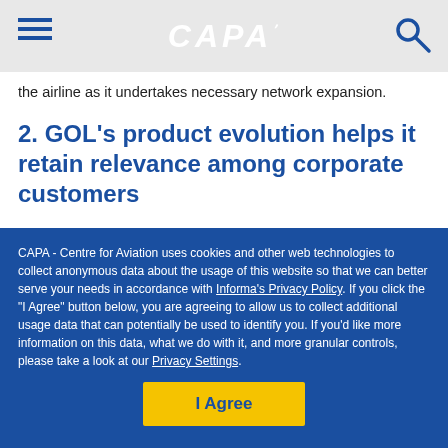CAPA
the airline as it undertakes necessary network expansion.
2. GOL's product evolution helps it retain relevance among corporate customers
GOL has worked diligently during the past few years to
CAPA - Centre for Aviation uses cookies and other web technologies to collect anonymous data about the usage of this website so that we can better serve your needs in accordance with Informa's Privacy Policy. If you click the "I Agree" button below, you are agreeing to allow us to collect additional usage data that can potentially be used to identify you. If you'd like more information on this data, what we do with it, and more granular controls, please take a look at our Privacy Settings.
I Agree